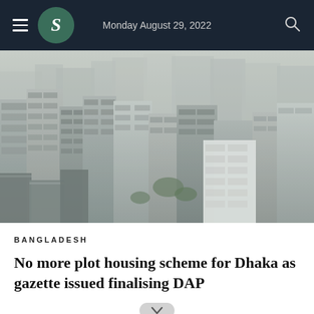Monday August 29, 2022
[Figure (photo): Aerial view of densely packed multi-storey residential and commercial buildings in Dhaka, Bangladesh, with hazy sky and urban rooftops visible.]
BANGLADESH
No more plot housing scheme for Dhaka as gazette issued finalising DAP